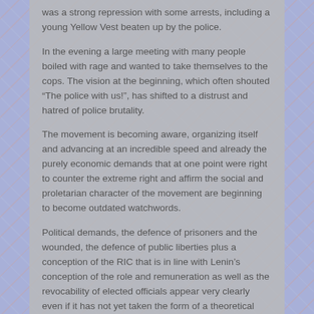was a strong repression with some arrests, including a young Yellow Vest beaten up by the police.
In the evening a large meeting with many people boiled with rage and wanted to take themselves to the cops. The vision at the beginning, which often shouted “The police with us!”, has shifted to a distrust and hatred of police brutality.
The movement is becoming aware, organizing itself and advancing at an incredible speed and already the purely economic demands that at one point were right to counter the extreme right and affirm the social and proletarian character of the movement are beginning to become outdated watchwords.
Political demands, the defence of prisoners and the wounded, the defence of public liberties plus a conception of the RIC that is in line with Lenin’s conception of the role and remuneration as well as the revocability of elected officials appear very clearly even if it has not yet taken the form of a theoretical recognition, have taken the lead.